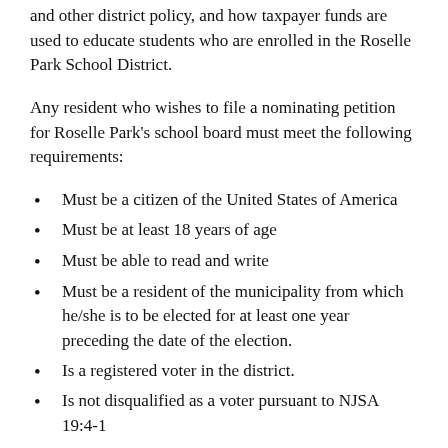and other district policy, and how taxpayer funds are used to educate students who are enrolled in the Roselle Park School District.
Any resident who wishes to file a nominating petition for Roselle Park's school board must meet the following requirements:
Must be a citizen of the United States of America
Must be at least 18 years of age
Must be able to read and write
Must be a resident of the municipality from which he/she is to be elected for at least one year preceding the date of the election.
Is a registered voter in the district.
Is not disqualified as a voter pursuant to NJSA 19:4-1
Is not disqualified from membership for the conviction of crimes pursuant to NJSA 18A:12-1